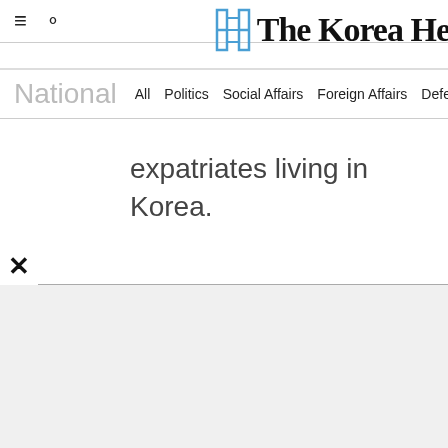≡  🔍   The Korea He...
National  All  Politics  Social Affairs  Foreign Affairs  Defense  North Korea  Hw...
expatriates living in Korea.
By Sanjay Kumar (sanjaykumar@heraldcorp.com)